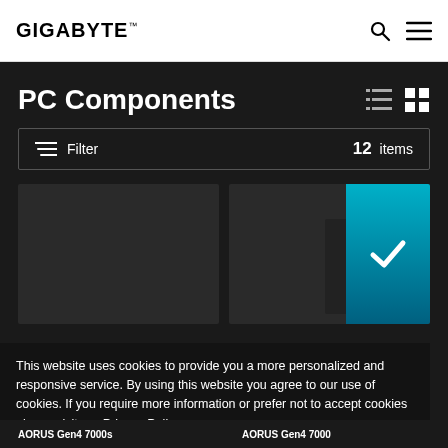GIGABYTE
PC Components
Filter   12 items
[Figure (screenshot): Two dark product card placeholders in a grid layout showing PC component products]
[Figure (photo): Gaming PC component image partially visible on right card]
This website uses cookies to provide you a more personalized and responsive service. By using this website you agree to our use of cookies. If you require more information or prefer not to accept cookies please visit our Privacy Policy
AORUS Gen4 7000s   AORUS Gen4 7000